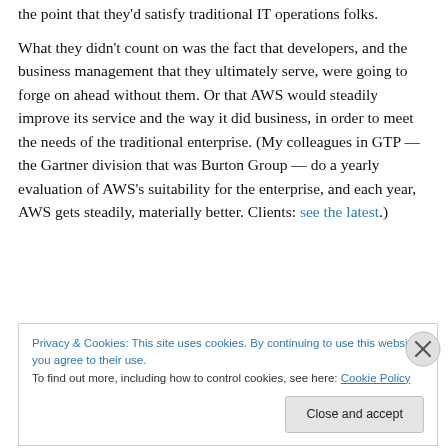the point that they'd satisfy traditional IT operations folks.

What they didn't count on was the fact that developers, and the business management that they ultimately serve, were going to forge on ahead without them. Or that AWS would steadily improve its service and the way it did business, in order to meet the needs of the traditional enterprise. (My colleagues in GTP — the Gartner division that was Burton Group — do a yearly evaluation of AWS's suitability for the enterprise, and each year, AWS gets steadily, materially better. Clients: see the latest.)
Privacy & Cookies: This site uses cookies. By continuing to use this website, you agree to their use.
To find out more, including how to control cookies, see here: Cookie Policy